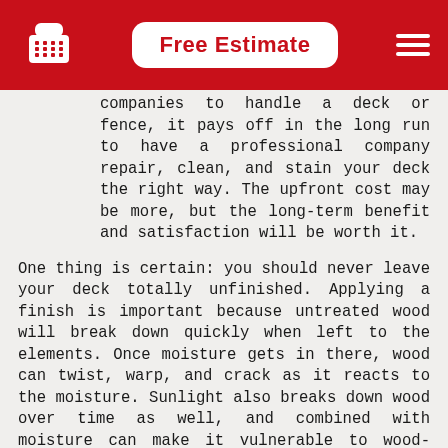Free Estimate
companies to handle a deck or fence, it pays off in the long run to have a professional company repair, clean, and stain your deck the right way. The upfront cost may be more, but the long-term benefit and satisfaction will be worth it.
One thing is certain: you should never leave your deck totally unfinished. Applying a finish is important because untreated wood will break down quickly when left to the elements. Once moisture gets in there, wood can twist, warp, and crack as it reacts to the moisture. Sunlight also breaks down wood over time as well, and combined with moisture can make it vulnerable to wood-decay fungi and wood rot.
When you're looking at finishing your deck, there are 2 looks you can go for: paint or stain. Painting gives the best level of protection for wood. It's the best at